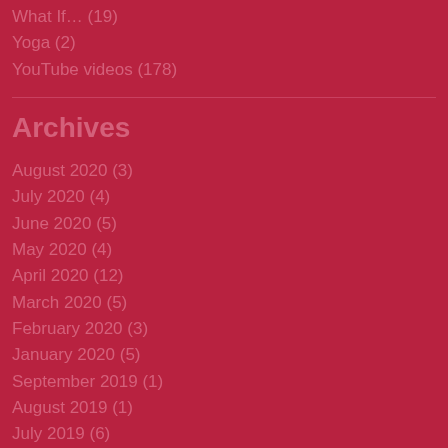What If… (19)
Yoga (2)
YouTube videos (178)
Archives
August 2020 (3)
July 2020 (4)
June 2020 (5)
May 2020 (4)
April 2020 (12)
March 2020 (5)
February 2020 (3)
January 2020 (5)
September 2019 (1)
August 2019 (1)
July 2019 (6)
June 2019 (1)
May 2019 (3)
April 2019 (7)